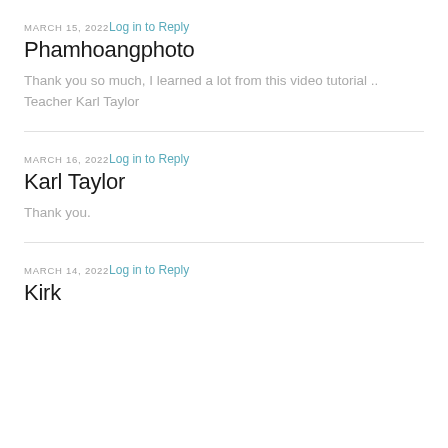MARCH 15, 2022 Log in to Reply
Phamhoangphoto
Thank you so much, I learned a lot from this video tutorial .. Teacher Karl Taylor
MARCH 16, 2022 Log in to Reply
Karl Taylor
Thank you.
MARCH 14, 2022 Log in to Reply
Kirk